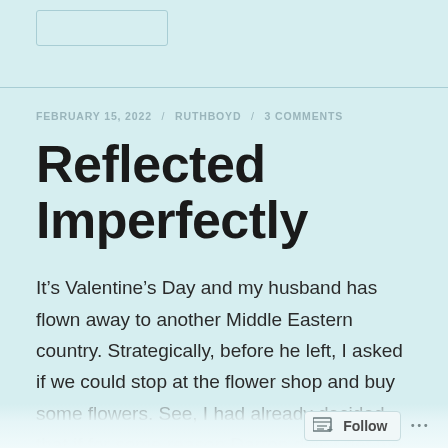FEBRUARY 15, 2022 / RUTHBOYD / 3 COMMENTS
Reflected Imperfectly
It’s Valentine’s Day and my husband has flown away to another Middle Eastern country. Strategically, before he left, I asked if we could stop at the flower shop and buy some flowers. See, I had already decided that if for some reason Darron didn’t get me flowers before
Follow ...